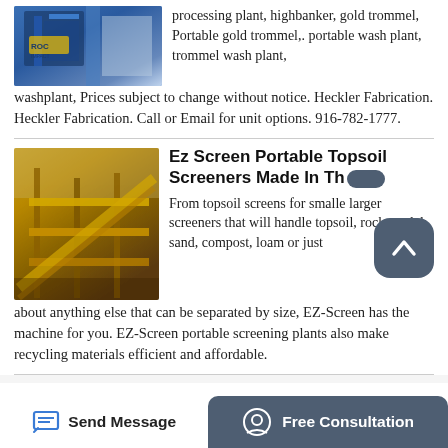[Figure (photo): Industrial machinery photo with blue metal structure and crane components]
processing plant, highbanker, gold trommel, Portable gold trommel,. portable wash plant, trommel wash plant, washplant, Prices subject to change without notice. Heckler Fabrication. Heckler Fabrication. Call or Email for unit options. 916-782-1777.
[Figure (photo): Yellow industrial screening machine / conveyor on a job site]
Ez Screen Portable Topsoil Screeners Made In Th
From topsoil screens for smalle larger screeners that will handle topsoil, rock, mulch, sand, compost, loam or just about anything else that can be separated by size, EZ-Screen has the machine for you. EZ-Screen portable screening plants also make recycling materials efficient and affordable.